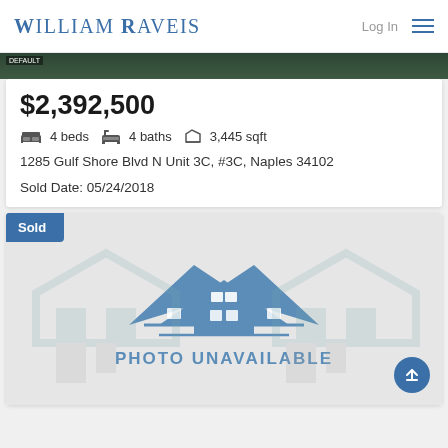WILLIAM RAVEIS
[Figure (photo): Property photo strip - dark green foliage background]
$2,392,500
4 beds  4 baths  3,445 sqft
1285 Gulf Shore Blvd N Unit 3C, #3C, Naples 34102
Sold Date: 05/24/2018
[Figure (photo): Photo unavailable placeholder with house icon and PHOTO UNAVAILABLE text. Blue Sold badge in top-left corner.]